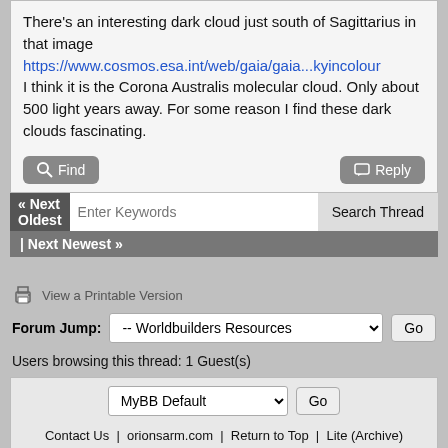There's an interesting dark cloud just south of Sagittarius in that image https://www.cosmos.esa.int/web/gaia/gaia...kyincolour I think it is the Corona Australis molecular cloud. Only about 500 light years away. For some reason I find these dark clouds fascinating.
Find | Reply
« Next Oldest | Next Newest »
View a Printable Version
Forum Jump: -- Worldbuilders Resources  Go
Users browsing this thread: 1 Guest(s)
MyBB Default  Go
Contact Us | orionsarm.com | Return to Top | Lite (Archive) Mode | RSS Syndication